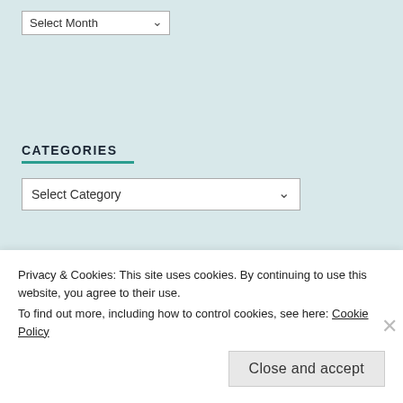[Figure (screenshot): A 'Select Month' dropdown control with white background and border]
CATEGORIES
[Figure (screenshot): A 'Select Category' dropdown control with white background and border]
[Figure (photo): Partial red-toned image strip visible behind the cookie banner]
Privacy & Cookies: This site uses cookies. By continuing to use this website, you agree to their use.
To find out more, including how to control cookies, see here: Cookie Policy
Close and accept